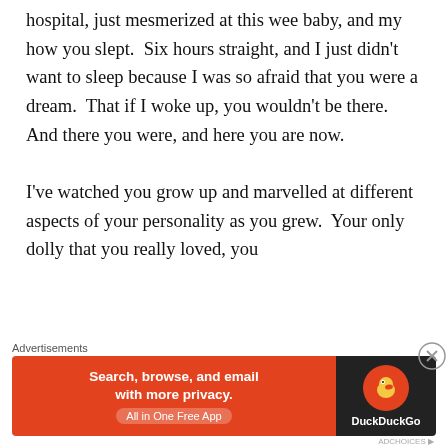hospital, just mesmerized at this wee baby, and my how you slept.  Six hours straight, and I just didn't want to sleep because I was so afraid that you were a dream.  That if I woke up, you wouldn't be there.  And there you were, and here you are now.

I've watched you grow up and marvelled at different aspects of your personality as you grew.  Your only dolly that you really loved, you
[Figure (other): DuckDuckGo advertisement banner: 'Search, browse, and email with more privacy. All in One Free App' on orange background with DuckDuckGo logo on dark background.]